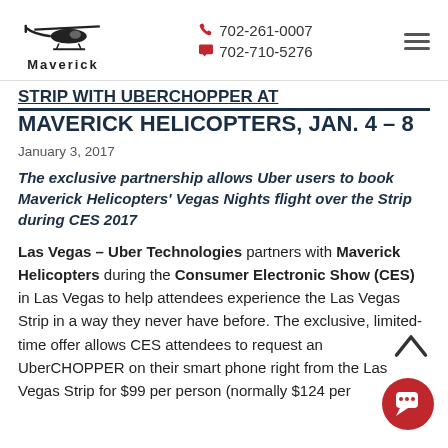Maverick Helicopters | 702-261-0007 | 702-710-5276
STRIP WITH UBERCHOPPER AT MAVERICK HELICOPTERS, JAN. 4 – 8
January 3, 2017
The exclusive partnership allows Uber users to book Maverick Helicopters' Vegas Nights flight over the Strip during CES 2017
Las Vegas – Uber Technologies partners with Maverick Helicopters during the Consumer Electronic Show (CES) in Las Vegas to help attendees experience the Las Vegas Strip in a way they never have before. The exclusive, limited-time offer allows CES attendees to request an UberCHOPPER on their smart phone right from the Las Vegas Strip for $99 per person (normally $124 per